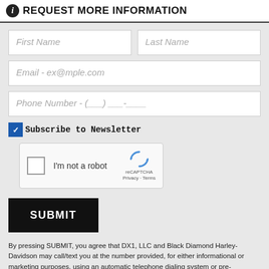REQUEST MORE INFORMATION
[Figure (screenshot): Web form with First Name, Last Name, Email, and Phone Number input fields on a gray background]
Subscribe to Newsletter
[Figure (screenshot): reCAPTCHA widget with checkbox labeled 'I'm not a robot']
SUBMIT
By pressing SUBMIT, you agree that DX1, LLC and Black Diamond Harley-Davidson may call/text you at the number provided, for either informational or marketing purposes, using an automatic telephone dialing system or pre-recorded/artificial voices. Msg/data rates may apply. You don't need to consent as a condition of any purchase & you may revoke your consent at any time. You also agree to our Privacy Statement & Terms of Use.